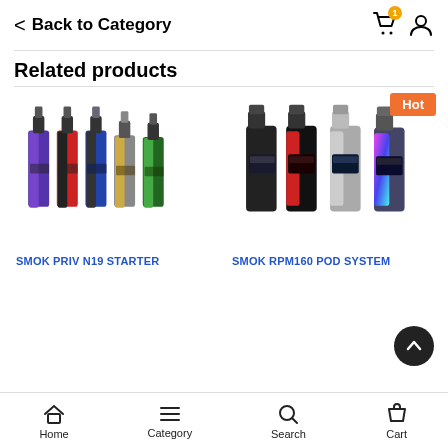< Back to Category
Related products
[Figure (photo): SMOK PRIV N19 STARTER product image showing multiple vape mod kits in various colors]
[Figure (photo): SMOK RPM160 POD SYSTEM product image showing multiple pod systems in various colors with Hot badge]
SMOK PRIV N19 STARTER
SMOK RPM160 POD SYSTEM
Home  Category  Search  Cart